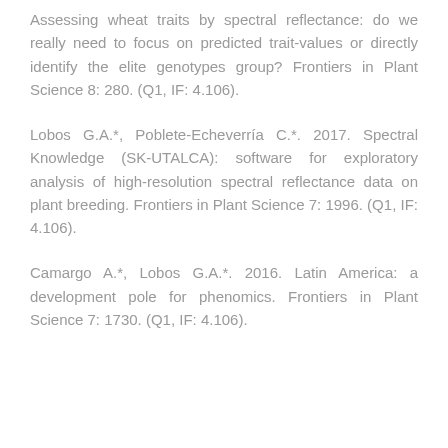Assessing wheat traits by spectral reflectance: do we really need to focus on predicted trait-values or directly identify the elite genotypes group? Frontiers in Plant Science 8: 280. (Q1, IF: 4.106).
Lobos G.A.*, Poblete-Echeverría C.*. 2017. Spectral Knowledge (SK-UTALCA): software for exploratory analysis of high-resolution spectral reflectance data on plant breeding. Frontiers in Plant Science 7: 1996. (Q1, IF: 4.106).
Camargo A.*, Lobos G.A.*. 2016. Latin America: a development pole for phenomics. Frontiers in Plant Science 7: 1730. (Q1, IF: 4.106).